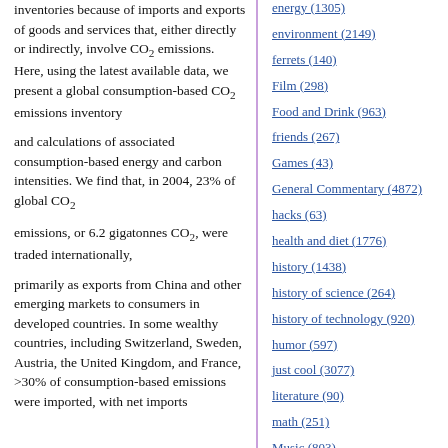inventories because of imports and exports of goods and services that, either directly or indirectly, involve CO2 emissions. Here, using the latest available data, we present a global consumption-based CO2 emissions inventory and calculations of associated consumption-based energy and carbon intensities. We find that, in 2004, 23% of global CO2 emissions, or 6.2 gigatonnes CO2, were traded internationally, primarily as exports from China and other emerging markets to consumers in developed countries. In some wealthy countries, including Switzerland, Sweden, Austria, the United Kingdom, and France, >30% of consumption-based emissions were imported, with net imports
energy (1305)
environment (2149)
ferrets (140)
Film (298)
Food and Drink (963)
friends (267)
Games (43)
General Commentary (4872)
hacks (63)
health and diet (1776)
history (1438)
history of science (264)
history of technology (920)
humor (597)
just cool (3077)
literature (90)
math (251)
Music (803)